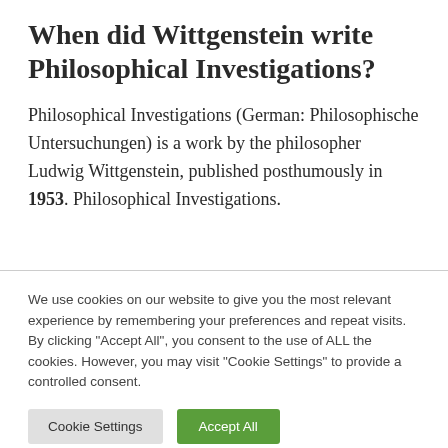When did Wittgenstein write Philosophical Investigations?
Philosophical Investigations (German: Philosophische Untersuchungen) is a work by the philosopher Ludwig Wittgenstein, published posthumously in 1953. Philosophical Investigations.
We use cookies on our website to give you the most relevant experience by remembering your preferences and repeat visits. By clicking "Accept All", you consent to the use of ALL the cookies. However, you may visit "Cookie Settings" to provide a controlled consent.